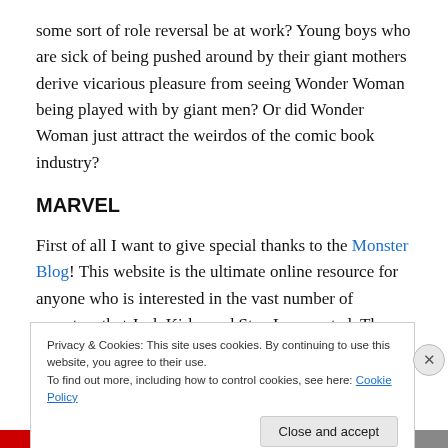some sort of role reversal be at work?  Young boys who are sick of being pushed around by their giant mothers derive vicarious pleasure from seeing Wonder Woman being played with by giant men?  Or did Wonder Woman just attract the weirdos of the comic book industry?
MARVEL
First of all I want to give special thanks to the Monster Blog!  This website is the ultimate online resource for anyone who is interested in the vast number of monsters that Jack Kirby and Stan Lee created. There are yet
Privacy & Cookies: This site uses cookies. By continuing to use this website, you agree to their use.
To find out more, including how to control cookies, see here: Cookie Policy
Close and accept